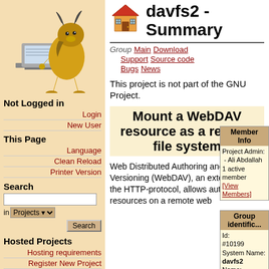[Figure (illustration): GNU mascot (wildebeest) sitting at a computer, wearing a yellow outfit]
Not Logged in
Login
New User
This Page
Language
Clean Reload
Printer Version
Search
Hosted Projects
Hosting requirements
Register New Project
Full List
Contributors Wanted
davfs2 - Summary
Group Main Download Support Source code Bugs News
This project is not part of the GNU Project.
Mount a WebDAV resource as a regular file system
Web Distributed Authoring and Versioning (WebDAV), an extension to the HTTP-protocol, allows authoring of resources on a remote web
Member Info
Project Admin:
 - Ali Abdallah
1 active member
[View Members]
Group identificat...
Id: #10199
System Name: davfs2
Name: davfs2